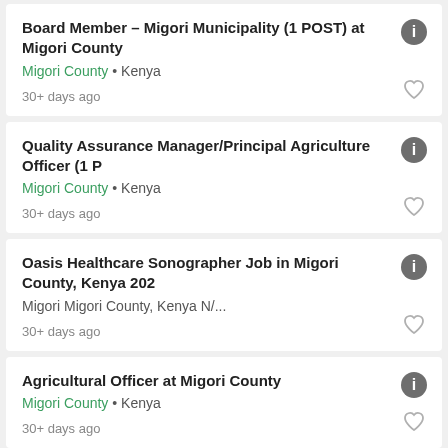Board Member – Migori Municipality (1 POST) at Migori County
Migori County • Kenya
30+ days ago
Quality Assurance Manager/Principal Agriculture Officer (1 P
Migori County • Kenya
30+ days ago
Oasis Healthcare Sonographer Job in Migori County, Kenya 202
Migori Migori County, Kenya N/...
30+ days ago
Agricultural Officer at Migori County
Migori County • Kenya
30+ days ago
County Legal Counsel III/Legal Clerk Assistant I (1